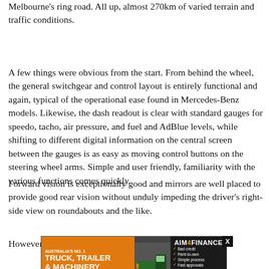Melbourne's ring road. All up, almost 270km of varied terrain and traffic conditions.
A few things were obvious from the start. From behind the wheel, the general switchgear and control layout is entirely functional and again, typical of the operational ease found in Mercedes-Benz models. Likewise, the dash readout is clear with standard gauges for speedo, tacho, air pressure, and fuel and AdBlue levels, while shifting to different digital information on the central screen between the gauges is as easy as moving control buttons on the steering wheel arms. Simple and user friendly, familiarity with the various functions comes quickly.
Forward vision is exceptionally good and mirrors are well placed to provide good rear vision without unduly impeding the driver's right-side view on roundabouts and the like.
However... less likeable... ion
[Figure (infographic): Advertisement banner for AIM4FINANCE - Australia's No. 1 Truck, Trailer & Machinery Finance Company. Features an orange left panel with company name, a truck image, and a right dark panel with checkmark bullet points (Bad credit, Rent-to-own, Simple process, Fast approvals, Low-doc loans), AIM4FINANCE branding, Rates from 5.74%, and LEARN MORE button.]